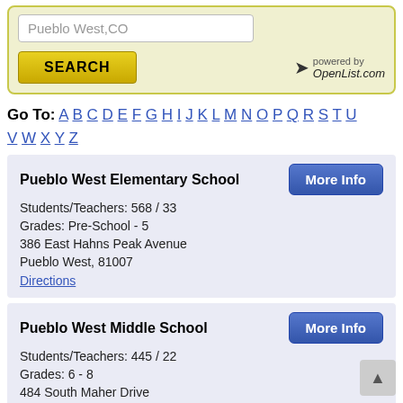Pueblo West,CO
SEARCH
powered by OpenList.com
Go To: A B C D E F G H I J K L M N O P Q R S T U V W X Y Z
Pueblo West Elementary School
Students/Teachers: 568 / 33
Grades: Pre-School - 5
386 East Hahns Peak Avenue
Pueblo West, 81007
Directions
Pueblo West Middle School
Students/Teachers: 445 / 22
Grades: 6 - 8
484 South Maher Drive